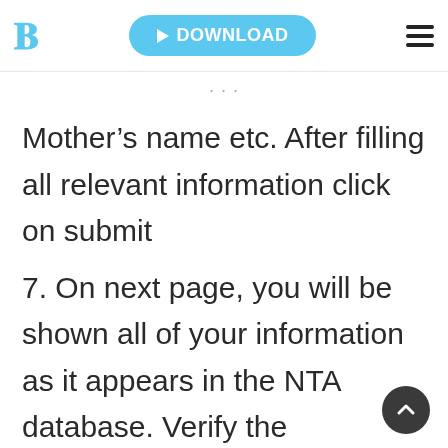B | DOWNLOAD
Mother’s name etc. After filling all relevant information click on submit
7. On next page, you will be shown all of your information as it appears in the NTA database. Verify the information and then click